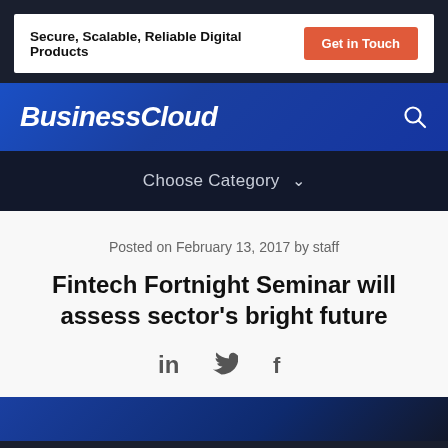Secure, Scalable, Reliable Digital Products | Get in Touch
BusinessCloud
Choose Category
Posted on February 13, 2017 by staff
Fintech Fortnight Seminar will assess sector’s bright future
[Figure (other): Social share icons: LinkedIn, Twitter, Facebook]
[Figure (photo): Bottom image strip with blue gradient background, partially visible]